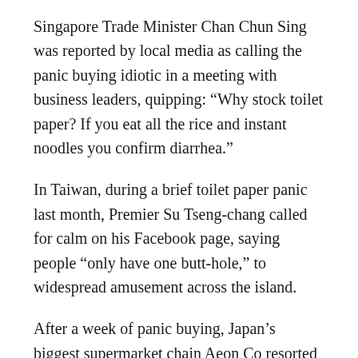Singapore Trade Minister Chan Chun Sing was reported by local media as calling the panic buying idiotic in a meeting with business leaders, quipping: “Why stock toilet paper? If you eat all the rice and instant noodles you confirm diarrhea.”
In Taiwan, during a brief toilet paper panic last month, Premier Su Tseng-chang called for calm on his Facebook page, saying people “only have one butt-hole,” to widespread amusement across the island.
After a week of panic buying, Japan’s biggest supermarket chain Aeon Co resorted to stacking up 12-roll packs in prominent displays at some of its stores to reassure customers there was plenty to go round.